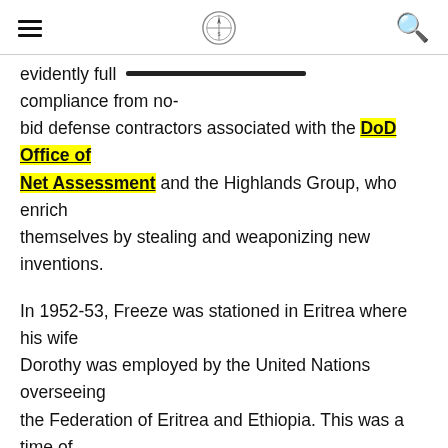Navigation header with hamburger menu, compass logo, and search icon
evidently full compliance from no-bid defense contractors associated with the DoD Office of Net Assessment and the Highlands Group, who enrich themselves by stealing and weaponizing new inventions.
In 1952-53, Freeze was stationed in Eritrea where his wife Dorothy was employed by the United Nations overseeing the Federation of Eritrea and Ethiopia. This was a time of important transition for the British in Eritrea. One can logically assume that Freeze was sent there by the "Inner Sanctum" to test his loyalties.
Only Freeze's formal Army record reveals that he graduated from the Aerospace Control and Guidance Systems